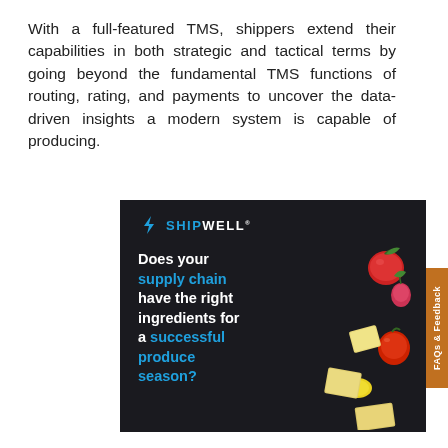With a full-featured TMS, shippers extend their capabilities in both strategic and tactical terms by going beyond the fundamental TMS functions of routing, rating, and payments to uncover the data-driven insights a modern system is capable of producing.
[Figure (illustration): Shipwell advertisement banner on dark background showing logo and text: 'Does your supply chain have the right ingredients for a successful produce season?' with floating vegetables (tomatoes, radish, bell pepper, lemon, cheese cubes)]